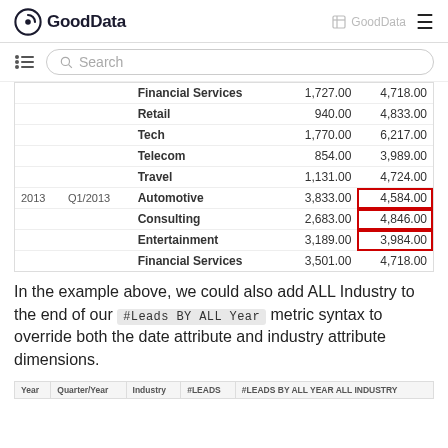GoodData — GoodData navigation header
| Year | Quarter/Year | Industry | #LEADS | #LEADS BY ALL YEAR ALL INDUSTRY |
| --- | --- | --- | --- | --- |
|  |  | Financial Services | 1,727.00 | 4,718.00 |
|  |  | Retail | 940.00 | 4,833.00 |
|  |  | Tech | 1,770.00 | 6,217.00 |
|  |  | Telecom | 854.00 | 3,989.00 |
|  |  | Travel | 1,131.00 | 4,724.00 |
| 2013 | Q1/2013 | Automotive | 3,833.00 | 4,584.00 |
|  |  | Consulting | 2,683.00 | 4,846.00 |
|  |  | Entertainment | 3,189.00 | 3,984.00 |
|  |  | Financial Services | 3,501.00 | 4,718.00 |
In the example above, we could also add ALL Industry to the end of our #Leads BY ALL Year metric syntax to override both the date attribute and industry attribute dimensions.
| Year | Quarter/Year | Industry | #LEADS | #LEADS BY ALL YEAR ALL INDUSTRY |
| --- | --- | --- | --- | --- |